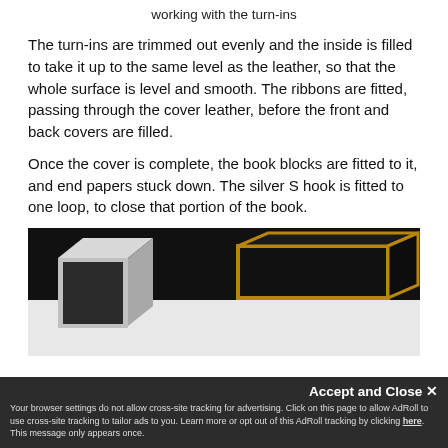working with the turn-ins
The turn-ins are trimmed out evenly and the inside is filled to take it up to the same level as the leather, so that the whole surface is level and smooth. The ribbons are fitted, passing through the cover leather, before the front and back covers are filled.
Once the cover is complete, the book blocks are fitted to it, and end papers stuck down. The silver S hook is fitted to one loop, to close that portion of the book.
[Figure (photo): Two book boxes, one light grey and one dark with gold border, photographed against a dark background]
Accept and Close ✕
Your browser settings do not allow cross-site tracking for advertising. Click on this page to allow AdRoll to use cross-site tracking to tailor ads to you. Learn more or opt out of this AdRoll tracking by clicking here. This message only appears once.